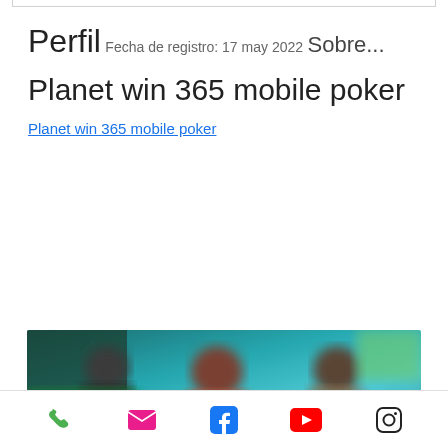Perfil
Fecha de registro: 17 may 2022
Sobre...
Planet win 365 mobile poker
Planet win 365 mobile poker
[Figure (photo): Blurred screenshot of a mobile poker game with characters and teal/green background]
Phone, Email, Facebook, YouTube, Instagram icons